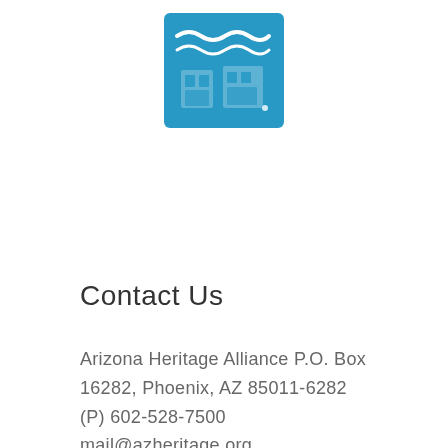[Figure (logo): Arizona Heritage Alliance logo — a blue square/stamp-like icon with wavy lines and building/window symbols in white on blue background]
Contact Us
Arizona Heritage Alliance P.O. Box 16282, Phoenix, AZ 85011-6282
(P) 602-528-7500
mail@azheritage.org